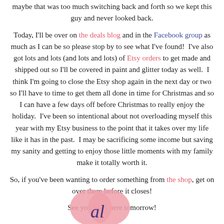maybe that was too much switching back and forth so we kept this guy and never looked back.
Today, I'll be over on the deals blog and in the Facebook group as much as I can be so please stop by to see what I've found!  I've also got lots and lots (and lots and lots) of Etsy orders to get made and shipped out so I'll be covered in paint and glitter today as well.  I think I'm going to close the Etsy shop again in the next day or two so I'll have to time to get them all done in time for Christmas and so I can have a few days off before Christmas to really enjoy the holiday.  I've been so intentional about not overloading myself this year with my Etsy business to the point that it takes over my life like it has in the past.  I may be sacrificing some income but saving my sanity and getting to enjoy those little moments with my family make it totally worth it.
So, if you've been wanting to order something from the shop, get on over there before it closes!
See you back here tomorrow!
[Figure (illustration): Pink heart shapes and a cursive signature at the bottom of the page]